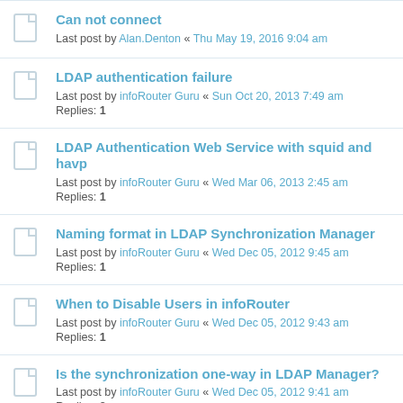Can not connect
Last post by Alan.Denton « Thu May 19, 2016 9:04 am
LDAP authentication failure
Last post by infoRouter Guru « Sun Oct 20, 2013 7:49 am
Replies: 1
LDAP Authentication Web Service with squid and havp
Last post by infoRouter Guru « Wed Mar 06, 2013 2:45 am
Replies: 1
Naming format in LDAP Synchronization Manager
Last post by infoRouter Guru « Wed Dec 05, 2012 9:45 am
Replies: 1
When to Disable Users in infoRouter
Last post by infoRouter Guru « Wed Dec 05, 2012 9:43 am
Replies: 1
Is the synchronization one-way in LDAP Manager?
Last post by infoRouter Guru « Wed Dec 05, 2012 9:41 am
Replies: 2